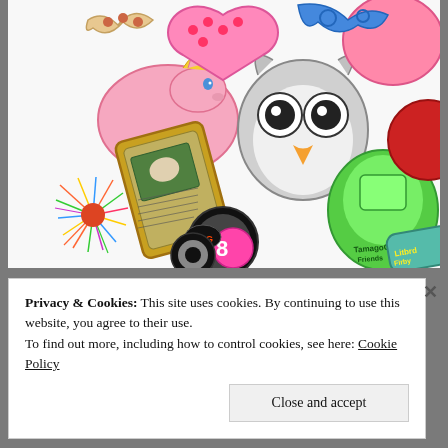[Figure (illustration): Colorful illustration of 90s children's toys including a Furby, My Little Pony, Pokemon card, Pogs, Tamagotchi, Koosh ball, and other nostalgic items depicted as decorated cookies or drawings on a white background.]
Privacy & Cookies: This site uses cookies. By continuing to use this website, you agree to their use. To find out more, including how to control cookies, see here: Cookie Policy
Close and accept